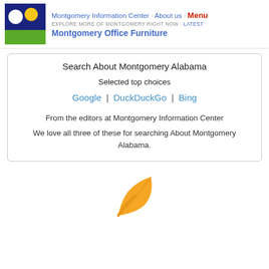Montgomery Information Center · About us · Menu
EXPLORE MORE OF MONTGOMERY RIGHT NOW · Latest
Montgomery Office Furniture
Search About Montgomery Alabama
Selected top choices
Google | DuckDuckGo | Bing
From the editors at Montgomery Information Center
We love all three of these for searching About Montgomery Alabama.
[Figure (illustration): Orange/yellow leaf icon]